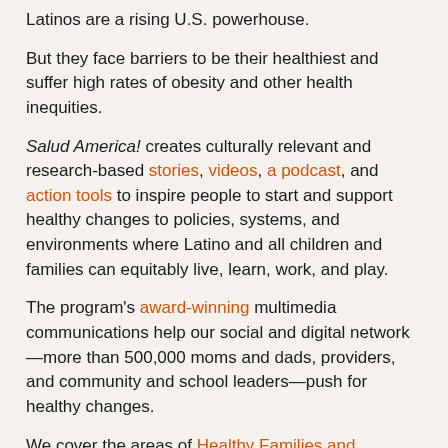Latinos are a rising U.S. powerhouse.
But they face barriers to be their healthiest and suffer high rates of obesity and other health inequities.
Salud America! creates culturally relevant and research-based stories, videos, a podcast, and action tools to inspire people to start and support healthy changes to policies, systems, and environments where Latino and all children and families can equitably live, learn, work, and play.
The program's award-winning multimedia communications help our social and digital network—more than 500,000 moms and dads, providers, and community and school leaders—push for healthy changes.
We cover the areas of Healthy Families and Schools, Healthy Neighborhoods and Communities, and Healthy and Cohesive Cultures.
Salud America! is led by health disparities researcher Dr.